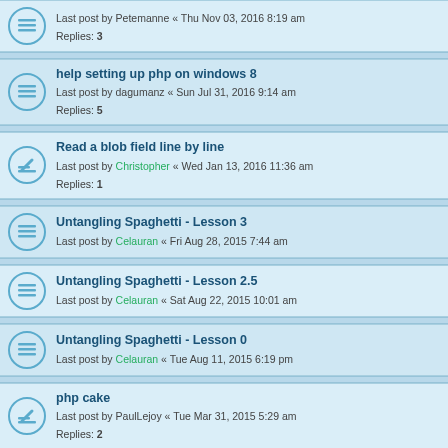Last post by Petemanne « Thu Nov 03, 2016 8:19 am
Replies: 3
help setting up php on windows 8
Last post by dagumanz « Sun Jul 31, 2016 9:14 am
Replies: 5
Read a blob field line by line
Last post by Christopher « Wed Jan 13, 2016 11:36 am
Replies: 1
Untangling Spaghetti - Lesson 3
Last post by Celauran « Fri Aug 28, 2015 7:44 am
Untangling Spaghetti - Lesson 2.5
Last post by Celauran « Sat Aug 22, 2015 10:01 am
Untangling Spaghetti - Lesson 0
Last post by Celauran « Tue Aug 11, 2015 6:19 pm
php cake
Last post by PaulLejoy « Tue Mar 31, 2015 5:29 am
Replies: 2
How To Understand PHP Sockets Programming
Last post by Weirdan « Wed Nov 19, 2014 8:31 am
Replies: 3
Php Learning Material
Last post by Celauran « Wed Jul 30, 2014 6:58 am
Replies: 2
Flight Schedule Script tutorial
Last post by zaib « Tue Sep 23, 2014 7:20 am
Replies: 2